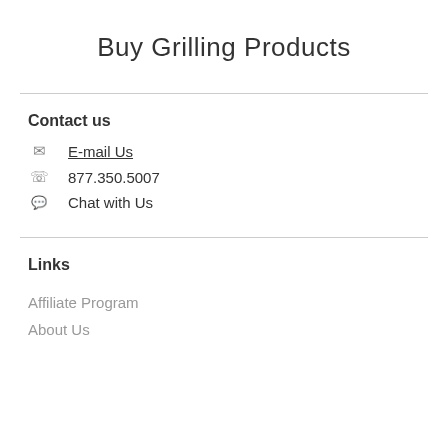Buy Grilling Products
Contact us
E-mail Us
877.350.5007
Chat with Us
Links
Affiliate Program
About Us